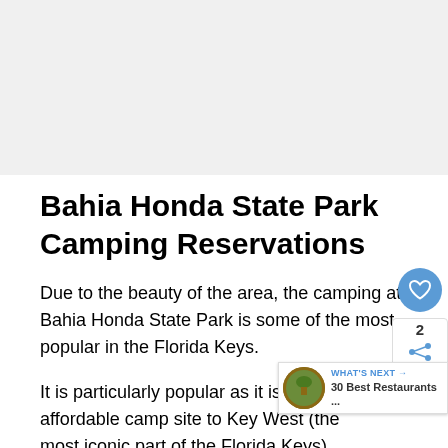[Figure (photo): Gray/white background area at top of page representing an image placeholder]
Bahia Honda State Park Camping Reservations
Due to the beauty of the area, the camping at Bahia Honda State Park is some of the most popular in the Florida Keys.
It is particularly popular as it is the closest affordable camp site to Key West (the most iconic part of the Florida Keys).
Bahia Honda State Park is about a 1 hour drive